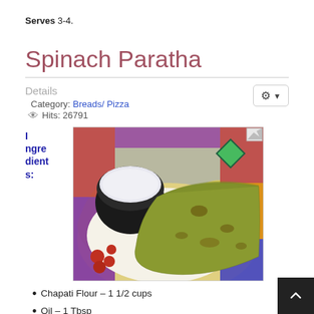Serves 3-4.
Spinach Paratha
Details
Category: Breads/ Pizza
Hits: 26791
Ingredients:
[Figure (photo): Photo of spinach paratha (green flatbread) served on a colorful plate with a black bowl of yogurt and red chutney on the side.]
Chapati Flour – 1 1/2 cups
Oil – 1 Tbsp
Frozen Spinach – 1/2 cup (washed)